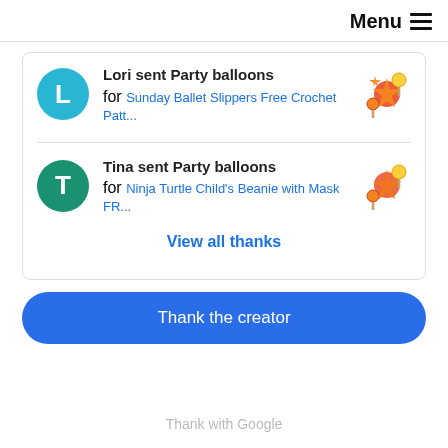Menu ≡
Lori sent Party balloons for Sunday Ballet Slippers Free Crochet Patt...
Tina sent Party balloons for Ninja Turtle Child's Beanie with Mask FR...
View all thanks
Thank the creator
Thank with Google